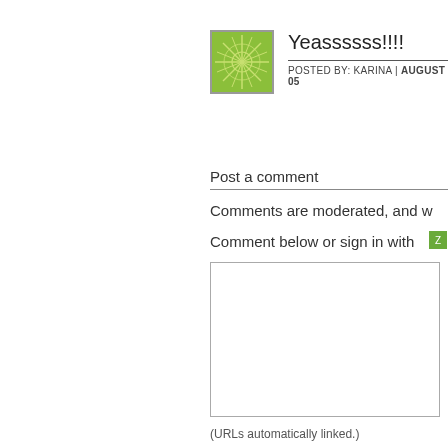[Figure (illustration): Green avatar icon with starburst/pinwheel pattern]
Yeassssss!!!!
POSTED BY: KARINA | AUGUST 05
Post a comment
Comments are moderated, and w
Comment below or sign in with
[Figure (logo): Small green Typekit/social sign-in icon]
(URLs automatically linked.)
Your Information